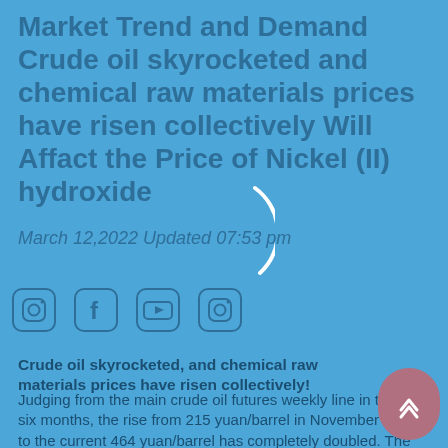Market Trend and Demand Crude oil skyrocketed and chemical raw materials prices have risen collectively Will Affact the Price of Nickel (II) hydroxide
March 12,2022 Updated 07:53 pm
[Figure (other): Loading spinner arc (partial circle) overlaid on the page]
[Figure (other): Social media icon bar with Instagram, Facebook, YouTube, Instagram icons]
Crude oil skyrocketed, and chemical raw materials prices have risen collectively!
Judging from the main crude oil futures weekly line in the past six months, the rise from 215 yuan/barrel in November 2020 to the current 464 yuan/barrel has completely doubled. The price of Brent